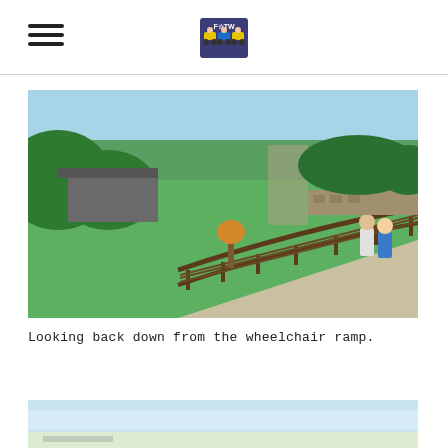[Figure (photo): Aerial/elevated view looking back down from a wheelchair ramp. Shows a wooden railed ramp curving through a green park area with buildings, trees and bushes, and two people walking on the ramp.]
Looking back down from the wheelchair ramp.
[Figure (photo): Partial view of another photo at the bottom of the page, showing a light blue sky and landscape.]